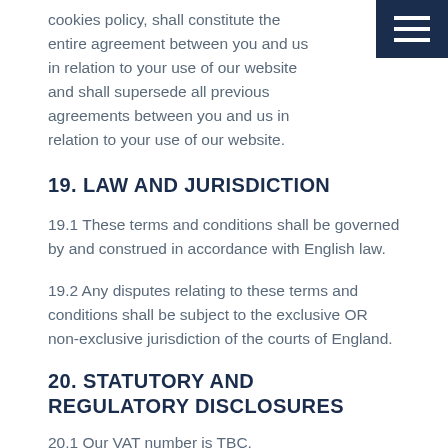cookies policy, shall constitute the entire agreement between you and us in relation to your use of our website and shall supersede all previous agreements between you and us in relation to your use of our website.
19. LAW AND JURISDICTION
19.1 These terms and conditions shall be governed by and construed in accordance with English law.
19.2 Any disputes relating to these terms and conditions shall be subject to the exclusive OR non-exclusive jurisdiction of the courts of England.
20. STATUTORY AND REGULATORY DISCLOSURES
20.1 Our VAT number is TBC.